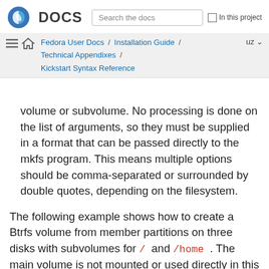Fedora DOCS | Search the docs | In this project
Fedora User Docs / Installation Guide / Technical Appendixes / Kickstart Syntax Reference | uz
volume or subvolume. No processing is done on the list of arguments, so they must be supplied in a format that can be passed directly to the mkfs program. This means multiple options should be comma-separated or surrounded by double quotes, depending on the filesystem.
The following example shows how to create a Btrfs volume from member partitions on three disks with subvolumes for / and /home . The main volume is not mounted or used directly in this example.
Example 1. Creating Btrfs Volumes and Subvolumes